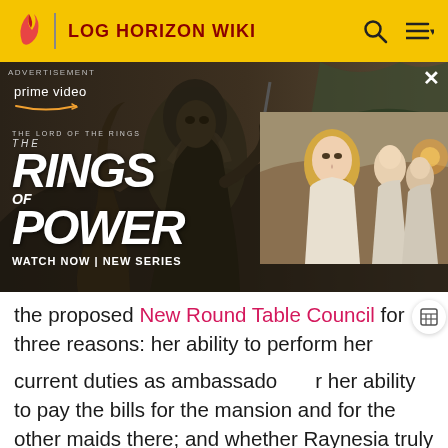LOG HORIZON WIKI
[Figure (photo): Advertisement banner for Amazon Prime Video 'The Lord of the Rings: The Rings of Power' new series. Shows a cloaked dark figure and inset image of blonde woman with others in background. Text: ADVERTISEMENT, prime video, THE LORD OF THE RINGS, THE, RINGS OF POWER, WATCH NOW | NEW SERIES]
the proposed New Round Table Council for three reasons: her ability to perform her current duties as ambassador, her ability to pay the bills for the mansion and for the other maids there; and whether Raynesia truly wants this for herself instead of being sweet-talked into it by those around her. Calasin and Elissa parry the first two points on her behalf, and Raynesia decisively argues in her own favor. She notes that her mother didn't tell her she had to accept the marriage proposal, only to live her life without